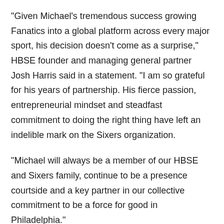"Given Michael's tremendous success growing Fanatics into a global platform across every major sport, his decision doesn't come as a surprise," HBSE founder and managing general partner Josh Harris said in a statement. "I am so grateful for his years of partnership. His fierce passion, entrepreneurial mindset and steadfast commitment to doing the right thing have left an indelible mark on the Sixers organization.
"Michael will always be a member of our HBSE and Sixers family, continue to be a presence courtside and a key partner in our collective commitment to be a force for good in Philadelphia."
Said HBSE co-founder and co-managing partner David Blitzer: "Michael is a visionary and innovator who has played an integral role in helping us grow and position HBSE for future success. He has been an incredible friend and business partner over the last 11 years and his instincts, work ethic, passion, and ability to bring people together